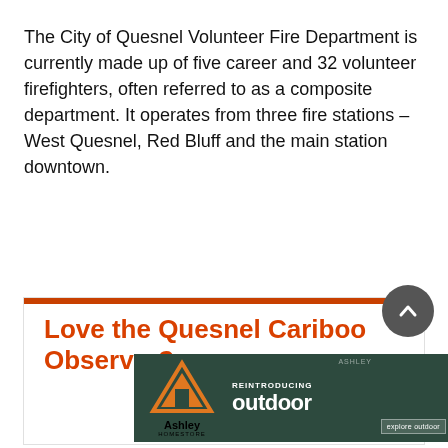The City of Quesnel Volunteer Fire Department is currently made up of five career and 32 volunteer firefighters, often referred to as a composite department. It operates from three fire stations – West Quesnel, Red Bluff and the main station downtown.
[Figure (other): Advertisement banner for Quesnel Cariboo Observer with headline 'Love the Quesnel Cariboo Observer?' and an Ashley HomeStore outdoor furniture ad below it]